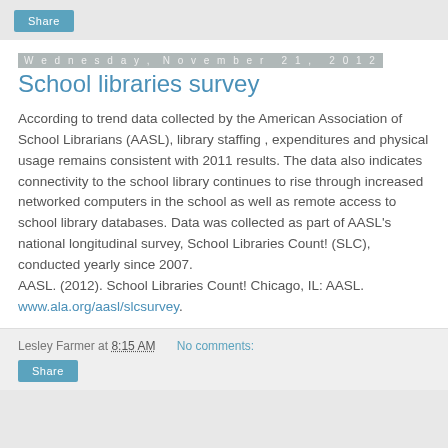Share
Wednesday, November 21, 2012
School libraries survey
According to trend data collected by the American Association of School Librarians (AASL), library staffing , expenditures and physical usage remains consistent with 2011 results. The data also indicates connectivity to the school library continues to rise through increased networked computers in the school as well as remote access to school library databases. Data was collected as part of AASL's national longitudinal survey, School Libraries Count! (SLC), conducted yearly since 2007.
AASL. (2012). School Libraries Count! Chicago, IL: AASL.
www.ala.org/aasl/slcsurvey.
Lesley Farmer at 8:15 AM  No comments:  Share